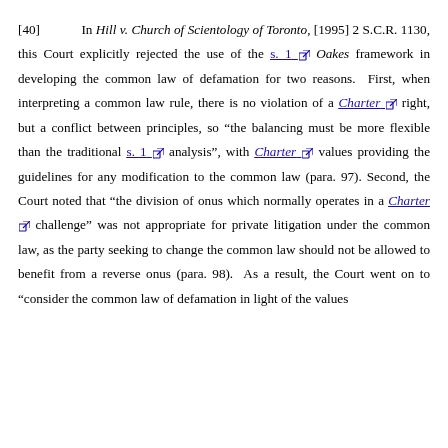[40]   In Hill v. Church of Scientology of Toronto, [1995] 2 S.C.R. 1130, this Court explicitly rejected the use of the s. 1 Oakes framework in developing the common law of defamation for two reasons.  First, when interpreting a common law rule, there is no violation of a Charter right, but a conflict between principles, so “the balancing must be more flexible than the traditional s. 1 analysis”, with Charter values providing the guidelines for any modification to the common law (para. 97). Second, the Court noted that “the division of onus which normally operates in a Charter challenge” was not appropriate for private litigation under the common law, as the party seeking to change the common law should not be allowed to benefit from a reverse onus (para. 98).  As a result, the Court went on to “consider the common law of defamation in light of the values